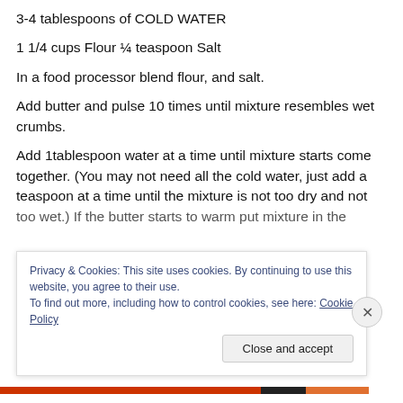3-4 tablespoons of COLD WATER
1 1/4 cups Flour ¼ teaspoon Salt
In a food processor blend flour, and salt.
Add butter and pulse 10 times until mixture resembles wet crumbs.
Add 1tablespoon water at a time until mixture starts come together. (You may not need all the cold water, just add a teaspoon at a time until the mixture is not too dry and not too wet.) If the butter starts to warm put mixture in the
Privacy & Cookies: This site uses cookies. By continuing to use this website, you agree to their use.
To find out more, including how to control cookies, see here: Cookie Policy
Close and accept